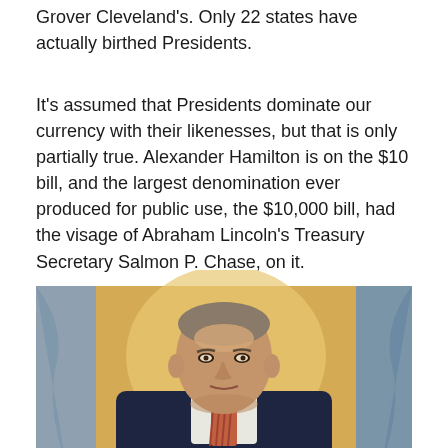Grover Cleveland's. Only 22 states have actually birthed Presidents.
It's assumed that Presidents dominate our currency with their likenesses, but that is only partially true. Alexander Hamilton is on the $10 bill, and the largest denomination ever produced for public use, the $10,000 bill, had the visage of Abraham Lincoln's Treasury Secretary Salmon P. Chase, on it.
[Figure (photo): Official portrait painting of an older man in a dark suit with a striped tie, depicted against a warm golden/yellow and blue-grey background with draped curtains.]